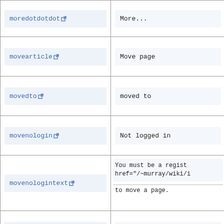| Key | Value |
| --- | --- |
| moredotdotdot | More... |
| movearticle | Move page |
| movedto | moved to |
| movenologin | Not logged in |
| movenologintext | You must be a regist href="/~murray/wiki/i to move a page. |
| movepage | Move page |
|  |  |